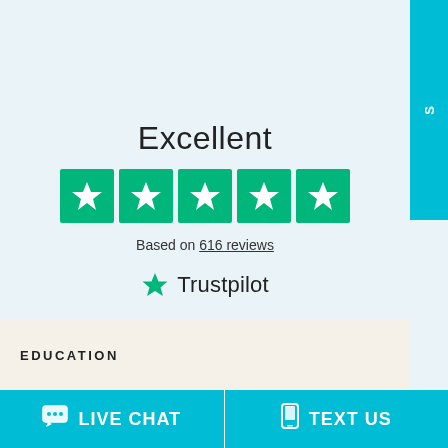[Figure (logo): Teal vertical sidebar on the right edge of the page with the letter S visible]
Excellent
[Figure (other): Five green Trustpilot star rating boxes in a row]
Based on 616 reviews
[Figure (logo): Trustpilot logo with green star and Trustpilot text]
EDUCATION
LIVE CHAT
TEXT US